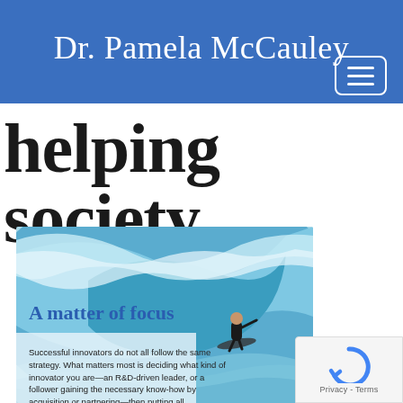Dr. Pamela McCauley
helping society
[Figure (photo): Surfer riding inside a large ocean wave barrel, photo used as article illustration]
A matter of focus
Successful innovators do not all follow the same strategy. What matters most is deciding what kind of innovator you are—an R&D-driven leader, or a follower gaining the necessary know-how by acquisition or partnering—then putting all